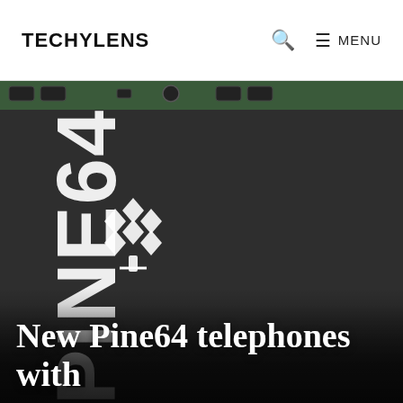TECHYLENS  🔍  ☰ MENU
[Figure (photo): Close-up photograph of a Pine64 device internals/back panel. A dark grey/black metal or plastic back cover is visible with the white Pine64 logo (a pine tree made of diamond shapes) and the text 'PINE64' written vertically in white letters. On the right side there are small circular connector points with symbols, and a grey rectangular module (possibly a modem or SIM card slot). The top edge shows USB-style ports on a dark green PCB. Part of the image is cropped on the right side showing a blurred component.]
New Pine64 telephones with